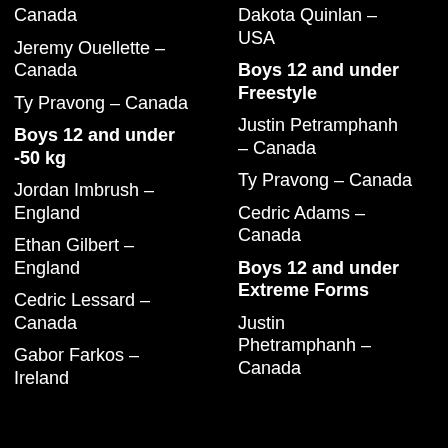Canada
Jeremy Ouellette – Canada
Ty Pravong – Canada
Boys 12 and under -50 kg
Jordan Imbrush – England
Ethan Gilbert – England
Cedric Lessard – Canada
Gabor Farkos – Ireland
Dakota Quinlan – USA
Boys 12 and under Freestyle
Justin Petramphanh – Canada
Ty Pravong – Canada
Cedric Adams – Canada
Boys 12 and under Extreme Forms
Justin Phetramphanh – Canada